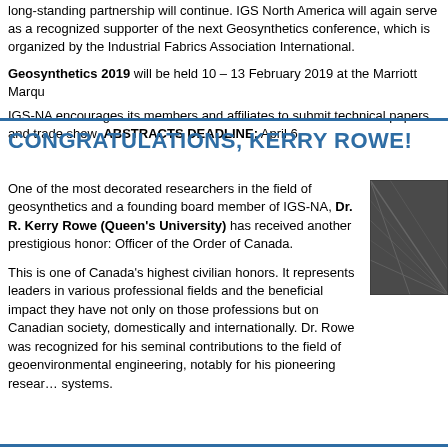long-standing partnership will continue. IGS North America will again serve as a recognized supporter of the next Geosynthetics conference, which is organized by the Industrial Fabrics Association International.
Geosynthetics 2019 will be held 10 – 13 February 2019 at the Marriott Marqu…
IGS-NA encourages its members and affiliates to submit technical papers and trade show. ABSTRACTS DEADLINE: April 6.
CONGRATULATIONS, KERRY ROWE!
One of the most decorated researchers in the field of geosynthetics and a founding board member of IGS-NA, Dr. R. Kerry Rowe (Queen's University) has received another prestigious honor: Officer of the Order of Canada.
This is one of Canada's highest civilian honors. It represents leaders in various professional fields and the beneficial impact they have not only on those professions but on Canadian society, domestically and internationally. Dr. Rowe was recognized for his seminal contributions to the field of geoenvironmental engineering, notably for his pioneering resear… systems.
[Figure (photo): Photo of Kerry Rowe or related geosynthetics image, showing dark structural/textile material]